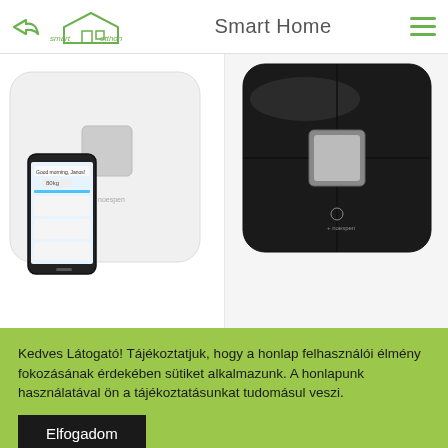Smart Home
[Figure (photo): White smart body scale (noecspen brand) with a smartphone showing health app, displayed on white background]
[Figure (photo): Black smart body scale (noecspen brand) displayed on grey background]
Kedves Látogató! Tájékoztatjuk, hogy a honlap felhasználói élmény fokozásának érdekében sütiket alkalmazunk. A honlapunk használatával ön a tájékoztatásunkat tudomásul veszi.
Elfogadom